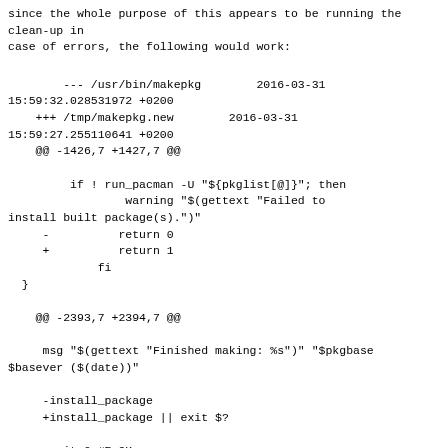since the whole purpose of this appears to be running the clean-up in
case of errors, the following would work:
(just a proof of concept, there are other calls to install_package)